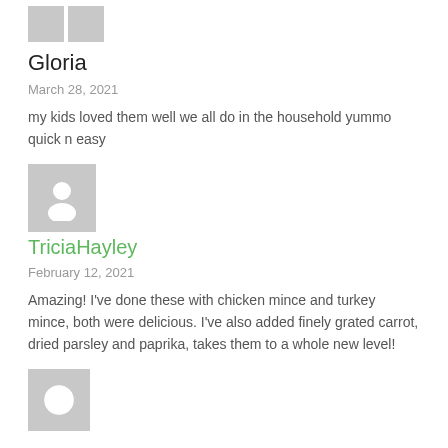[Figure (illustration): Two small grey avatar placeholder icons at top]
Gloria
March 28, 2021
my kids loved them well we all do in the household yummo quick n easy
[Figure (illustration): Grey avatar placeholder icon with person silhouette]
TriciaHayley
February 12, 2021
Amazing! I've done these with chicken mince and turkey mince, both were delicious. I've also added finely grated carrot, dried parsley and paprika, takes them to a whole new level!
[Figure (illustration): Grey avatar placeholder icon at bottom, partially visible]